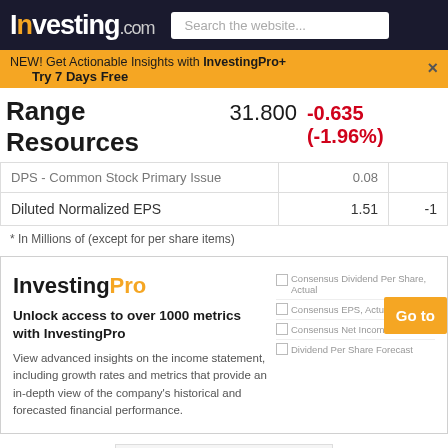Investing.com | Search the website...
NEW! Get Actionable Insights with InvestingPro+
Try 7 Days Free
Range Resources  31.800  -0.635 (-1.96%)
| Metric | Value |  |
| --- | --- | --- |
| DPS - Common Stock Primary Issue | 0.08 |  |
| Diluted Normalized EPS | 1.51 | -1 |
* In Millions of (except for per share items)
[Figure (screenshot): InvestingPro promotional box with logo, headline 'Unlock access to over 1000 metrics with InvestingPro', description text, and right side showing metric checkboxes (Consensus Dividend Per Share Actual, Consensus EPS Actual, Consensus Net Income, Dividend Per Share Forecast) with an orange 'Go to' button.]
RRC Comments